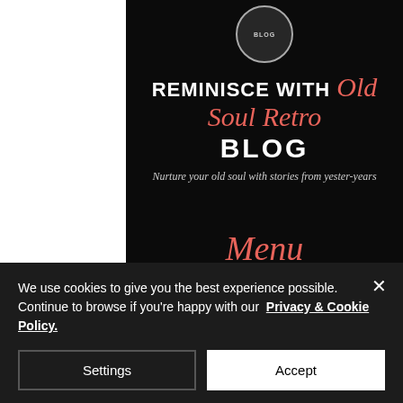[Figure (screenshot): Website screenshot showing Old Soul Retro blog header with dark background and vintage-style imagery of a woman reading. White panel on left side.]
REMINISCE with Old Soul Retro BLOG
Nurture your old soul with stories from yester-years
Menu
EXPLORE
MEDIA
We use cookies to give you the best experience possible. Continue to browse if you're happy with our Privacy & Cookie Policy.
Settings
Accept